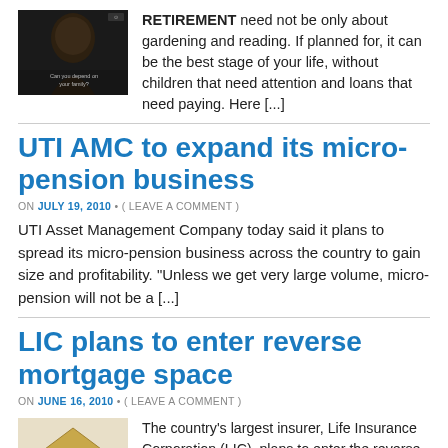[Figure (photo): Dark portrait photo of a person with text overlay 'Can you depend on your family?']
RETIREMENT need not be only about gardening and reading. If planned for, it can be the best stage of your life, without children that need attention and loans that need paying. Here [...]
UTI AMC to expand its micro-pension business
ON JULY 19, 2010 • ( LEAVE A COMMENT )
UTI Asset Management Company today said it plans to spread its micro-pension business across the country to gain size and profitability. "Unless we get very large volume, micro-pension will not be a [...]
LIC plans to enter reverse mortgage space
ON JUNE 16, 2010 • ( LEAVE A COMMENT )
[Figure (photo): Photo of currency notes arranged in the shape of a house]
The country's largest insurer, Life Insurance Corporation (LIC), plans to enter the reverse mortgage space. LIC is in initial discussion with the housing finance regulator, National Housing Bank (NHB) for introduction this [...]